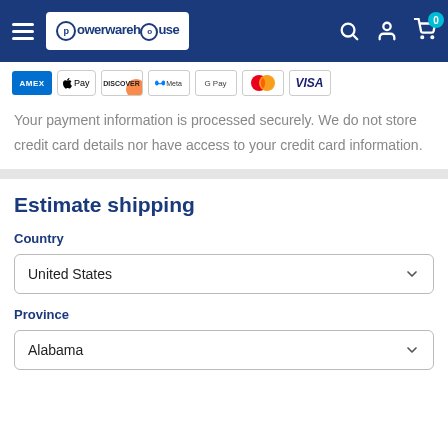Powerwarehouse — navigation bar with hamburger menu, logo, search, account, and cart icons
[Figure (logo): Payment method icons: AMEX, Apple Pay, Discover, Meta, Google Pay, Mastercard, Visa]
Your payment information is processed securely. We do not store credit card details nor have access to your credit card information.
Estimate shipping
Country
United States
Province
Alabama